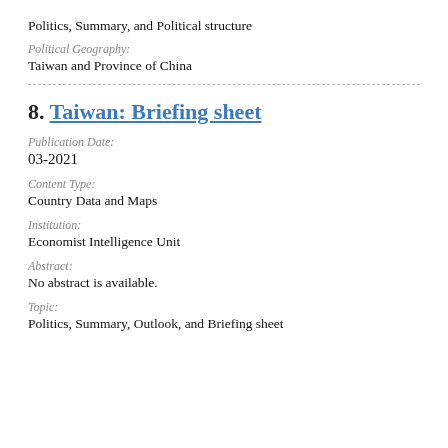Politics, Summary, and Political structure
Political Geography:
Taiwan and Province of China
8. Taiwan: Briefing sheet
Publication Date:
03-2021
Content Type:
Country Data and Maps
Institution:
Economist Intelligence Unit
Abstract:
No abstract is available.
Topic:
Politics, Summary, Outlook, and Briefing sheet